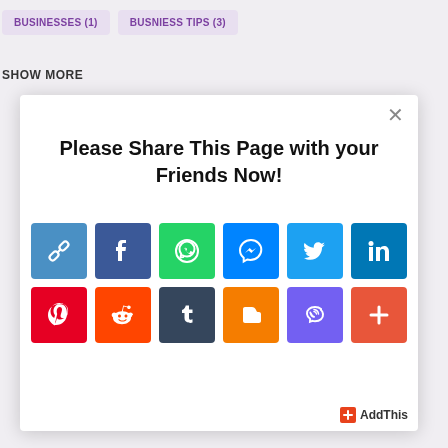BUSINESSES (1)
BUSNIESS TIPS (3)
SHOW MORE
[Figure (screenshot): Modal dialog with social sharing icons. Title: 'Please Share This Page with your Friends Now!' with two rows of social media icons: Row 1: Link/copy, Facebook, WhatsApp, Messenger, Twitter, LinkedIn. Row 2: Pinterest, Reddit, Tumblr, Blogger, Viber, More (+). AddThis badge at bottom right.]